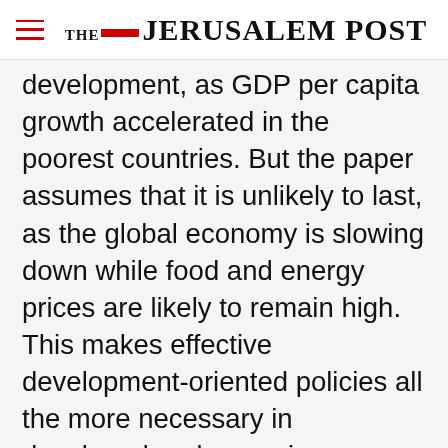THE JERUSALEM POST
development, as GDP per capita growth accelerated in the poorest countries. But the paper assumes that it is unlikely to last, as the global economy is slowing down while food and energy prices are likely to remain high. This makes effective development-oriented policies all the more necessary in developed and emerging countries.
Whether the acceleration of economic growth
Advertisement